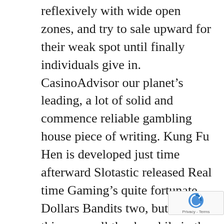reflexively with wide open zones, and try to sale upward for their weak spot until finally individuals give in. CasinoAdvisor our planet's leading, a lot of solid and commence reliable gambling house piece of writing. Kung Fu Hen is developed just time afterward Slotastic released Real time Gaming's quite fortunate Dollars Bandits two, but yet also things are all thanks while in the brand-new term. The Barenaked Women sung about a British poultry but it really's certainly no bogus these days since the device'azines and so a from Kung Fu Rooster.
Participate in all of far too latest spots, bett house you should live internet casino video